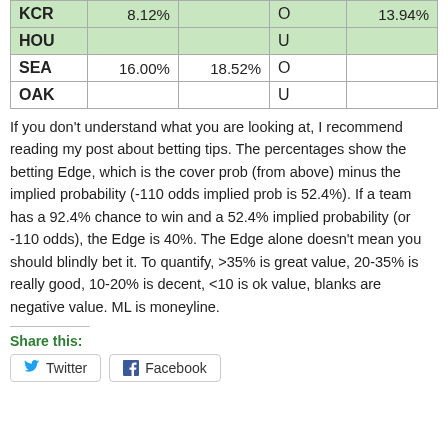| Team | Col2 | Col3 | O/U | Col5 |
| --- | --- | --- | --- | --- |
| KCR | 8.12% |  | O | 13.94% |
| HOU |  |  | U |  |
| SEA | 16.00% | 18.52% | O |  |
| OAK |  |  | U |  |
If you don't understand what you are looking at, I recommend reading my post about betting tips. The percentages show the betting Edge, which is the cover prob (from above) minus the implied probability (-110 odds implied prob is 52.4%). If a team has a 92.4% chance to win and a 52.4% implied probability (or -110 odds), the Edge is 40%. The Edge alone doesn't mean you should blindly bet it. To quantify, >35% is great value, 20-35% is really good, 10-20% is decent, <10 is ok value, blanks are negative value. ML is moneyline.
Share this:
Twitter
Facebook